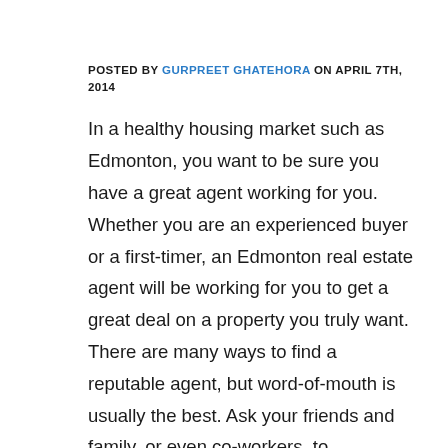POSTED BY GURPREET GHATEHORA ON APRIL 7TH, 2014
In a healthy housing market such as Edmonton, you want to be sure you have a great agent working for you. Whether you are an experienced buyer or a first-timer, an Edmonton real estate agent will be working for you to get a great deal on a property you truly want. There are many ways to find a reputable agent, but word-of-mouth is usually the best. Ask your friends and family, or even co-workers, to recommend you an agent. By securing an agent in this manner, you can be sure of both their work ethic and their skills